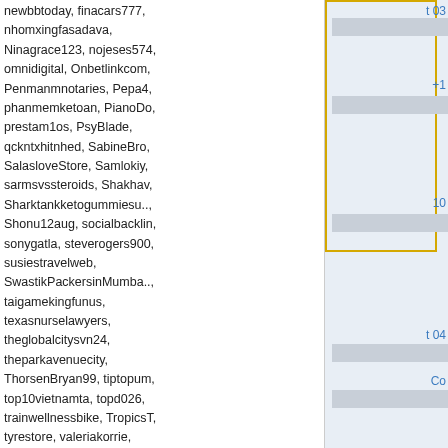newbbtoday, finacars777, nhomxingfasadava, Ninagrace123, nojeses574, omnidigital, Onbetlinkcom, Penmanmnotaries, Pepa4, phanmemketoan, PianoDo, prestam1os, PsyBlade, qckntxhitnhed, SabineBro, SalasloveStore, Samlokiy, sarmsvssteroids, Shakhav, Sharktankketogummiesu.., Shonu12aug, socialbacklin, sonygatla, steverogers900, susiestravelweb, SwastikPackersinMumba.., taigamekingfunus, texasnurselawyers, theglobalcitysvn24, theparkavenuecity, ThorsenBryan99, tiptopum, top10vietnamta, topd026, trainwellnessbike, TropicsT, tyrestore, valeriakorrie, virtualpangeaseo, vn138bi, w88betfun, xxLuxury777xx
Most users ever online wa 150,759 on 9/11/14.
Get your weekly helping of wallpapers!
Email Address
Sign me up!
t 03
+1
10
t 04
Co